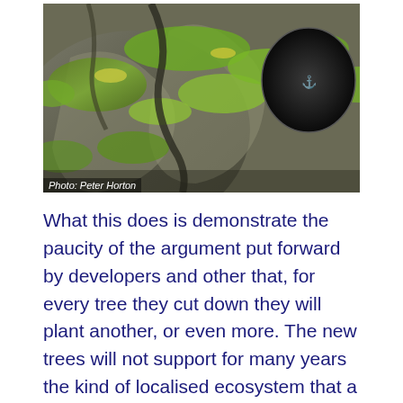[Figure (photo): Close-up photograph of mossy rocks with green and yellow lichen. A dark rounded stone or disk is visible in the upper right. Caption reads 'Photo: Peter Horton'.]
Photo: Peter Horton
What this does is demonstrate the paucity of the argument put forward by developers and other that, for every tree they cut down they will plant another, or even more. The new trees will not support for many years the kind of localised ecosystem that a mature specimen does.  In the intervening years, other reliant species may well have declined. In urban areas the benefits brought to local air quality is lost.